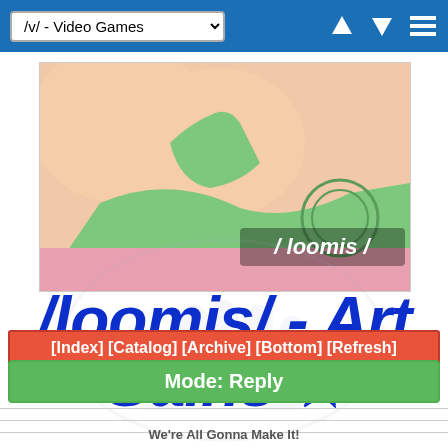/v/ - Video Games
[Figure (illustration): Anime-style illustration showing a character in a green outfit, with /loomis/ watermark overlay]
/loomis/ - Art Gains ☆
[Index] [Catalog] [Archive] [Bottom] [Refresh]
Mode: Reply
We're All Gonna Make It!